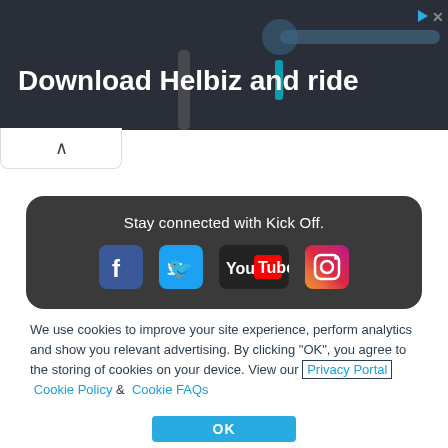[Figure (screenshot): Advertisement banner for Helbiz with text 'Download Helbiz and ride' on dark background with bicycle handlebar image]
[Figure (screenshot): Social media bar with dark rounded background showing 'Stay connected with Kick Off.' and icons for Facebook, Twitter, YouTube, and Instagram]
We use cookies to improve your site experience, perform analytics and show you relevant advertising. By clicking "OK", you agree to the storing of cookies on your device. View our Privacy Portal  Cookie Policy &  Cookie FAQs
[Figure (screenshot): OK button in cyan/light blue color]